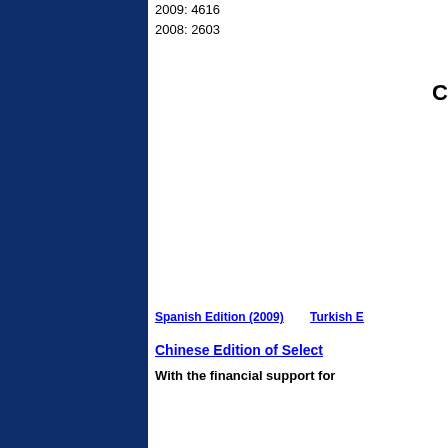2009: 4616
2008: 2603
C
Spanish Edition (2009)
Turkish E
Chinese Edition of Select
With the financial support for